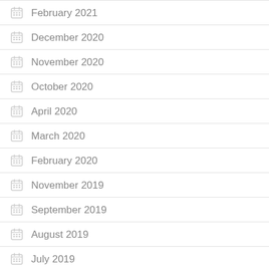February 2021
December 2020
November 2020
October 2020
April 2020
March 2020
February 2020
November 2019
September 2019
August 2019
July 2019